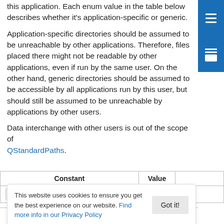this application. Each enum value in the table below describes whether it's application-specific or generic.
Application-specific directories should be assumed to be unreachable by other applications. Therefore, files placed there might not be readable by other applications, even if run by the same user. On the other hand, generic directories should be assumed to be accessible by all applications run by this user, but should still be assumed to be unreachable by applications by other users.
Data interchange with other users is out of the scope of QStandardPaths.
| Constant | Value |  |
| --- | --- | --- |
| QStandardPaths::DesktopLocation | 0 | R |
|  | 1 | R |
This website uses cookies to ensure you get the best experience on our website. Find more info in our Privacy Policy